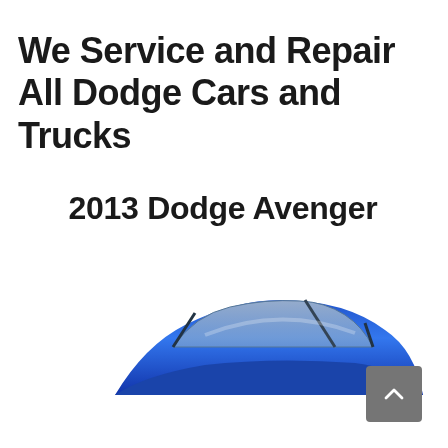We Service and Repair All Dodge Cars and Trucks
2013 Dodge Avenger
[Figure (photo): Partial top view of a blue 2013 Dodge Avenger car, showing the roof and windshield area against a white background]